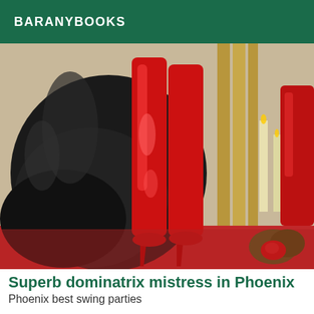BARANYBOOKS
[Figure (photo): Photo of tall red patent leather thigh-high stiletto boots standing on a red surface, with a large black latex/vinyl garment draped in the background, candles and a red rose visible on the right side.]
Superb dominatrix mistress in Phoenix
Phoenix best swing parties